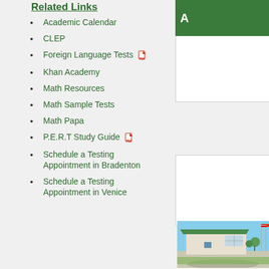Related Links
Academic Calendar
CLEP
Foreign Language Tests [PDF icon]
Khan Academy
Math Resources
Math Sample Tests
Math Papa
P.E.R.T Study Guide [PDF icon]
Schedule a Testing Appointment in Bradenton
Schedule a Testing Appointment in Venice
[Figure (photo): Exterior photo of a college building with green roof, flagpoles with American and Florida flags, clear blue sky, parking lot in foreground]